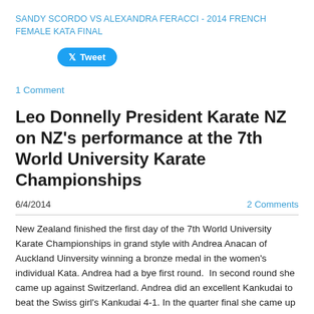SANDY SCORDO VS ALEXANDRA FERACCI - 2014 FRENCH FEMALE KATA FINAL
Tweet
1 Comment
Leo Donnelly President Karate NZ on NZ's performance at the 7th World University Karate Championships
6/4/2014
2 Comments
New Zealand finished the first day of the 7th World University Karate Championships in grand style with Andrea Anacan of Auckland Uinversity winning a bronze medal in the women's individual Kata. Andrea had a bye first round.  In second round she came up against Switzerland. Andrea did an excellent Kankudai to beat the Swiss girl's Kankudai 4-1. In the quarter final she came up against France. Andrea attacked the French girl with a very good Chatanyara Kushanku but the French girl did a very sharp Gojushiho sho and won 5-0. France